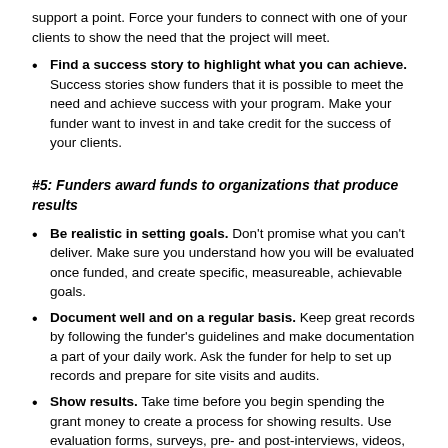support a point. Force your funders to connect with one of your clients to show the need that the project will meet.
Find a success story to highlight what you can achieve. Success stories show funders that it is possible to meet the need and achieve success with your program. Make your funder want to invest in and take credit for the success of your clients.
#5: Funders award funds to organizations that produce results
Be realistic in setting goals. Don't promise what you can't deliver. Make sure you understand how you will be evaluated once funded, and create specific, measureable, achievable goals.
Document well and on a regular basis. Keep great records by following the funder's guidelines and make documentation a part of your daily work. Ask the funder for help to set up records and prepare for site visits and audits.
Show results. Take time before you begin spending the grant money to create a process for showing results. Use evaluation forms, surveys, pre- and post-interviews, videos, news clippings, and web articles. Assign a staff person to ensure your evaluation process is followed and to review results on a